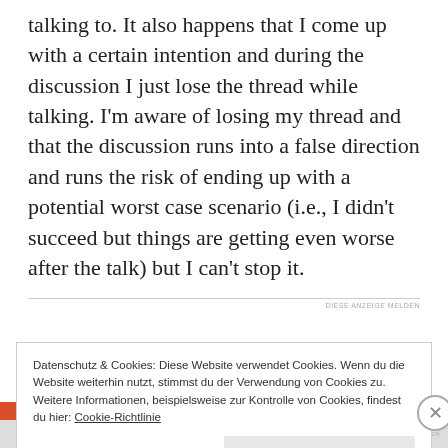talking to. It also happens that I come up with a certain intention and during the discussion I just lose the thread while talking. I'm aware of losing my thread and that the discussion runs into a false direction and runs the risk of ending up with a potential worst case scenario (i.e., I didn't succeed but things are getting even worse after the talk) but I can't stop it.
DIESE ANZEIGE MELDEN
Datenschutz & Cookies: Diese Website verwendet Cookies. Wenn du die Website weiterhin nutzt, stimmst du der Verwendung von Cookies zu. Weitere Informationen, beispielsweise zur Kontrolle von Cookies, findest du hier: Cookie-Richtlinie
Schließen und Akzeptieren